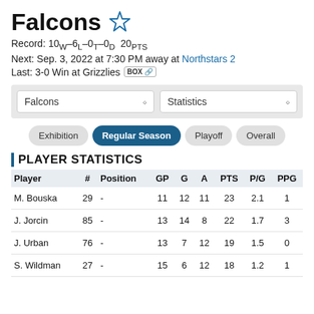Falcons
Record: 10W–6L–0T–0D  20PTS
Next: Sep. 3, 2022 at 7:30 PM away at Northstars 2
Last: 3-0 Win at Grizzlies  BOX
Falcons dropdown / Statistics dropdown
Exhibition | Regular Season | Playoff | Overall
PLAYER STATISTICS
| Player | # | Position | GP | G | A | PTS | P/G | PPG |
| --- | --- | --- | --- | --- | --- | --- | --- | --- |
| M. Bouska | 29 | - | 11 | 12 | 11 | 23 | 2.1 | 1 |
| J. Jorcin | 85 | - | 13 | 14 | 8 | 22 | 1.7 | 3 |
| J. Urban | 76 | - | 13 | 7 | 12 | 19 | 1.5 | 0 |
| S. Wildman | 27 | - | 15 | 6 | 12 | 18 | 1.2 | 1 |